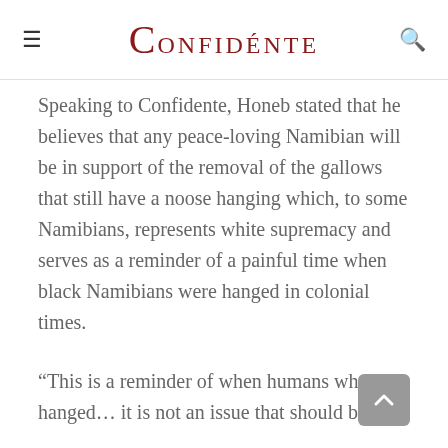Confidénte
Speaking to Confidente, Honeb stated that he believes that any peace-loving Namibian will be in support of the removal of the gallows that still have a noose hanging which, to some Namibians, represents white supremacy and serves as a reminder of a painful time when black Namibians were hanged in colonial times.
“This is a reminder of when humans where hanged… it is not an issue that should be